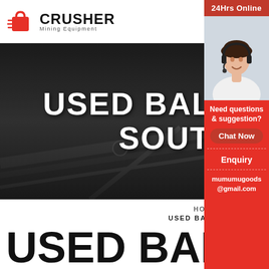[Figure (logo): Crusher Mining Equipment logo with red shopping bag icon and bold CRUSHER text]
[Figure (photo): Dark industrial hero banner showing conveyor belt mining equipment with white bold text overlay 'USED BALLMILLS PRICE SOUTH AFRICA']
HOME → PRODUCT → USED BALLMILLS PRICE SOUTH AF
USED BALLMILLS PRICE SOUTH
[Figure (photo): Sidebar with red background showing female customer service agent with headset, '24Hrs Online' header, 'Need questions & suggestion?', 'Chat Now' button, 'Enquiry' section, and email mumumugoods@gmail.com]